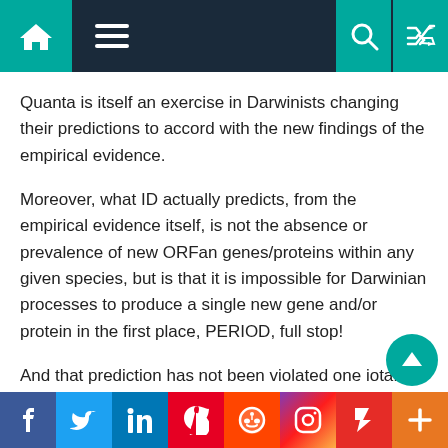[Navigation bar with home, menu, search, and shuffle icons]
Quanta is itself an exercise in Darwinists changing their predictions to accord with the new findings of the empirical evidence.
Moreover, what ID actually predicts, from the empirical evidence itself, is not the absence or prevalence of new ORFan genes/proteins within any given species, but is that it is impossible for Darwinian processes to produce a single new gene and/or protein in the first place, PERIOD, full stop!
And that prediction has not been violated one iota. Not one new gene and/or protein has ever been observed to arise from Darwinian processes. As
[Social sharing bar: Facebook, Twitter, LinkedIn, Pinterest, Reddit, Instagram, Flipboard, Plus]